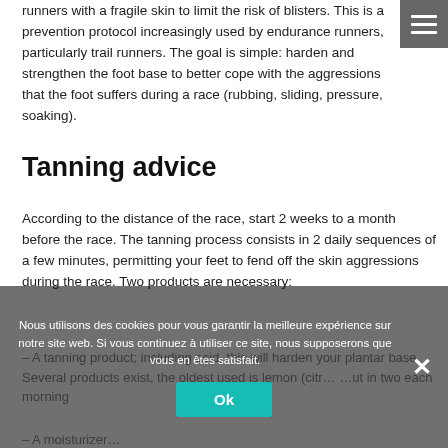runners with a fragile skin to limit the risk of blisters. This is a prevention protocol increasingly used by endurance runners, particularly trail runners. The goal is simple: harden and strengthen the foot base to better cope with the aggressions that the foot suffers during a race (rubbing, sliding, pressure, soaking).
Tanning advice
According to the distance of the race, start 2 weeks to a month before the race. The tanning process consists in 2 daily sequences of a few minutes, permitting your feet to fend off the skin aggressions during the race. Two products are necessary:
– A tanning product; including acid, this will harden your plantar base. Several products exist, the oldest used is lemon (citr… …ut in two each morning
– A moisturizer…
Nous utilisons des cookies pour vous garantir la meilleure expérience sur notre site web. Si vous continuez à utiliser ce site, nous supposerons que vous en êtes satisfait.